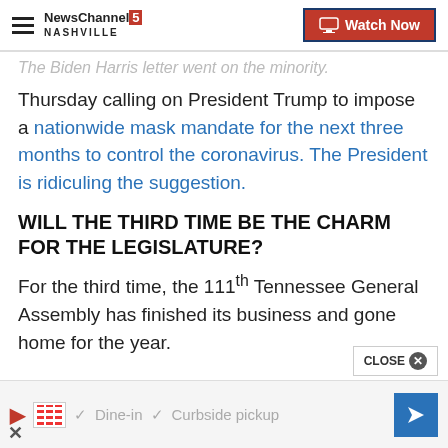NewsChannel 5 Nashville — Watch Now
The Biden Harris letter went on the minority.
Thursday calling on President Trump to impose a nationwide mask mandate for the next three months to control the coronavirus. The President is ridiculing the suggestion.
WILL THE THIRD TIME BE THE CHARM FOR THE LEGISLATURE?
For the third time, the 111th Tennessee General Assembly has finished its business and gone home for the year.
[Figure (screenshot): Advertisement bar: TGI Fridays logo with Dine-in and Curbside pickup options, navigation arrow button, and a close (X) button.]